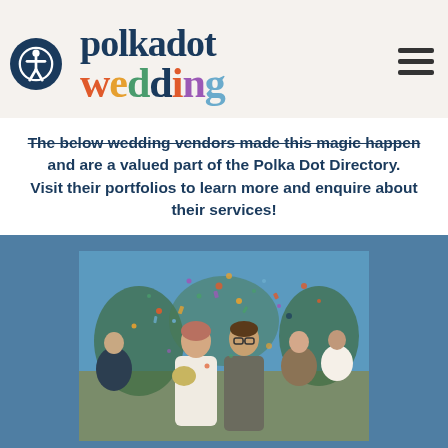polkadot wedding
The below wedding vendors made this magic happen and are a valued part of the Polka Dot Directory. Visit their portfolios to learn more and enquire about their services!
[Figure (photo): Wedding photo showing a bride and groom walking through confetti thrown by guests, outdoors with trees in background, displayed on a blue-grey card background.]